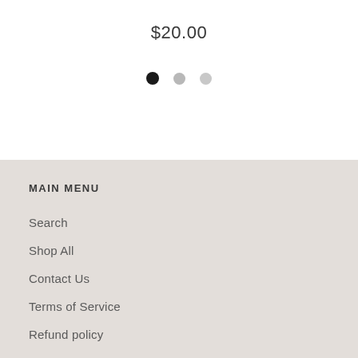$20.00
[Figure (other): Three circular dots: one filled black, two light gray, used as a carousel or color selector indicator]
MAIN MENU
Search
Shop All
Contact Us
Terms of Service
Refund policy
HELP & SUPPORT
Shipping Information